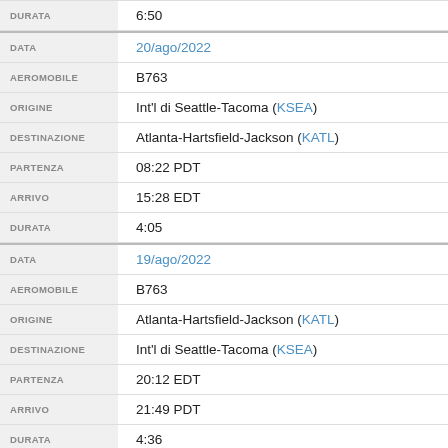| Field | Value |
| --- | --- |
| DURATA | 6:50 |
| DATA | 20/ago/2022 |
| AEROMOBILE | B763 |
| ORIGINE | Int'l di Seattle-Tacoma (KSEA) |
| DESTINAZIONE | Atlanta-Hartsfield-Jackson (KATL) |
| PARTENZA | 08:22 PDT |
| ARRIVO | 15:28 EDT |
| DURATA | 4:05 |
| DATA | 19/ago/2022 |
| AEROMOBILE | B763 |
| ORIGINE | Atlanta-Hartsfield-Jackson (KATL) |
| DESTINAZIONE | Int'l di Seattle-Tacoma (KSEA) |
| PARTENZA | 20:12 EDT |
| ARRIVO | 21:49 PDT |
| DURATA | 4:36 |
| DATA | 19/ago/2022 |
| AEROMOBILE | B763 |
| ORIGINE | Venezia-Tessera (VCE / LIPZ) |
| DESTINAZIONE | Atlanta-Hartsfield-Jackson (KATL) |
| PARTENZA | 12:02 CEST |